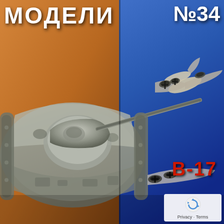МОДЕЛИ №34
[Figure (photo): Magazine cover showing a model of a military tank (top-down view with turret and gun barrel visible) on an orange/brown background, and a B-17 bomber aircraft model on a blue background in the upper right. The tank model is rendered in gray/olive. The aircraft model shows engine nacelles and fuselage detail.]
В-17
Privacy · Terms